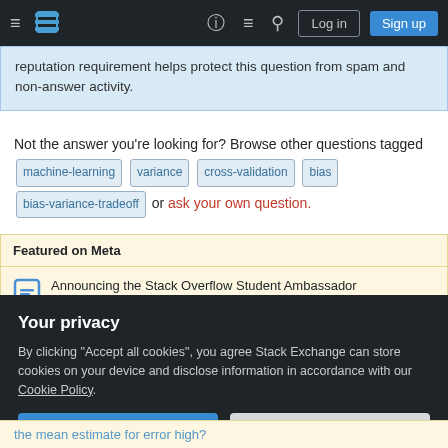Stack Exchange navigation bar with hamburger menu, logo, help, chat, search, Log in, Sign up
reputation requirement helps protect this question from spam and non-answer activity.
Not the answer you're looking for? Browse other questions tagged machine-learning variance cross-validation bias bias-variance-tradeoff or ask your own question.
Featured on Meta
Announcing the Stack Overflow Student Ambassador
Your privacy
By clicking "Accept all cookies", you agree Stack Exchange can store cookies on your device and disclose information in accordance with our Cookie Policy.
the mean estimate for error high?